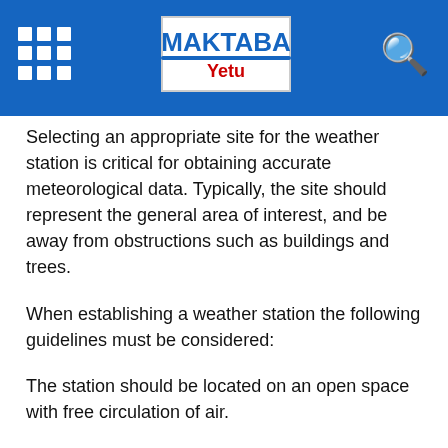Maktaba Yetu
Selecting an appropriate site for the weather station is critical for obtaining accurate meteorological data. Typically, the site should represent the general area of interest, and be away from obstructions such as buildings and trees.
When establishing a weather station the following guidelines must be considered:
The station should be located on an open space with free circulation of air.
There should be a wide view of the surrounding landscape and the sky.
The site should be free from obstructions by trees, buildings, mountains, etc. The station should not be under the shadows of